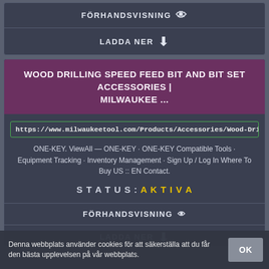FÖRHANDSVISNING
LADDA NER
WOOD DRILLING SPEED FEED BIT AND BIT SET ACCESSORIES | MILWAUKEE ...
https://www.milwaukeetool.com/Products/Accessories/Wood-Drilling/Sp
ONE-KEY. ViewAll — ONE-KEY · ONE-KEY Compatible Tools · Equipment Tracking · Inventory Management · Sign Up / Log In Where To Buy US :: EN Contact.
STATUS: AKTIVA
FÖRHANDSVISNING
LADDA NER
Denna webbplats använder cookies för att säkerställa att du får den bästa upplevelsen på vår webbplats.